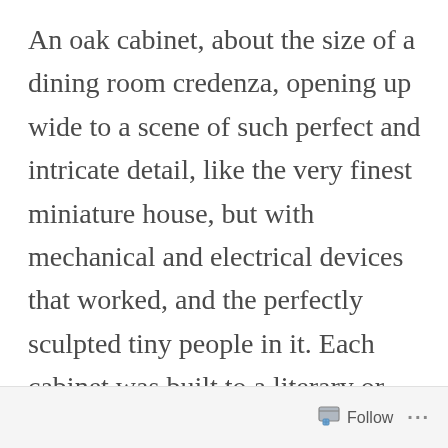An oak cabinet, about the size of a dining room credenza, opening up wide to a scene of such perfect and intricate detail, like the very finest miniature house, but with mechanical and electrical devices that worked, and the perfectly sculpted tiny people in it. Each cabinet was built to a literary or historic or purely imaginary theme. The hand-carved oak details glowed with warmth and welcome, and
Follow ···